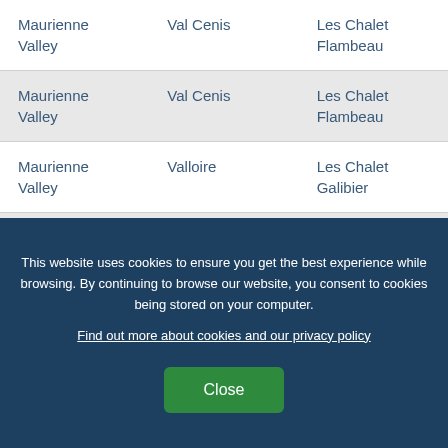| Region | Resort | Accommodation |
| --- | --- | --- |
| Maurienne Valley | Val Cenis | Les Chalet Flambeau |
| Maurienne Valley | Val Cenis | Les Chalet Flambeau |
| Maurienne Valley | Valloire | Les Chalet Galibier |
| Maurienne Valley | Valloire | Les Chalet Galibier |
This website uses cookies to ensure you get the best experience while browsing. By continuing to browse our website, you consent to cookies being stored on your computer.
Find out more about cookies and our privacy policy
Close